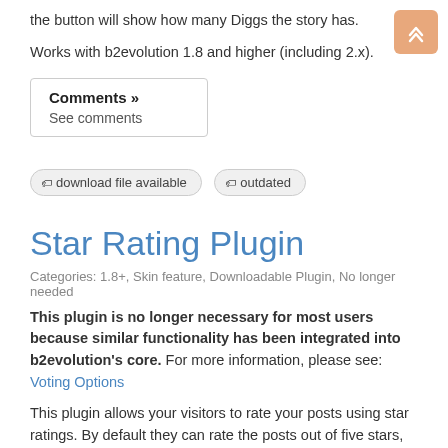the button will show how many Diggs the story has.
Works with b2evolution 1.8 and higher (including 2.x).
Comments »
See comments
download file available   outdated
Star Rating Plugin
Categories: 1.8+, Skin feature, Downloadable Plugin, No longer needed
This plugin is no longer necessary for most users because similar functionality has been integrated into b2evolution's core. For more information, please see: Voting Options
This plugin allows your visitors to rate your posts using star ratings. By default they can rate the posts out of five stars, but it's easy to change that value in the backoffice plugin settings. Users with JavaScript enabled can vote without reloading the page using an AJAX call. The plugin works when JavaScript is disabled by the reader too. By default, each vote is checked against a list of IP...